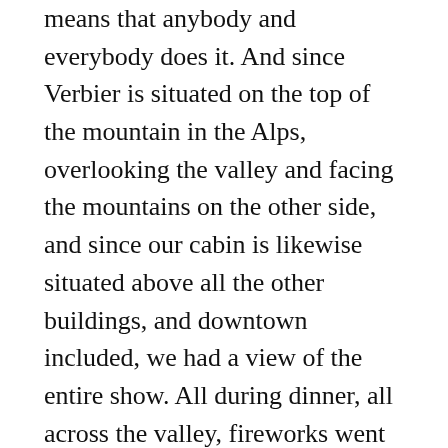means that anybody and everybody does it. And since Verbier is situated on the top of the mountain in the Alps, overlooking the valley and facing the mountains on the other side, and since our cabin is likewise situated above all the other buildings, and downtown included, we had a view of the entire show. All during dinner, all across the valley, fireworks went off in different directions and provided us with a nice backdrop.
Midnight, however, is when the show-offs emerge. As Verbier is a ski resort town, there are many very wealthy people. These many wealthy people then spend hundreds of thousands of francs on pyrotechnics to give the best firework displays. There are usually several